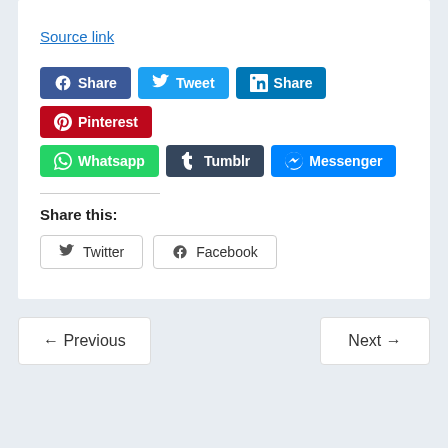Source link
[Figure (screenshot): Social sharing buttons row 1: Facebook Share, Tweet, LinkedIn Share, Pinterest]
[Figure (screenshot): Social sharing buttons row 2: Whatsapp, Tumblr, Messenger]
Share this:
[Figure (screenshot): Native share buttons: Twitter, Facebook]
← Previous
Next →